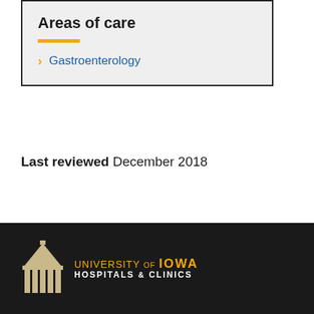Areas of care
Gastroenterology
Last reviewed December 2018
[Figure (logo): University of Iowa Hospitals & Clinics logo with building icon on dark background]